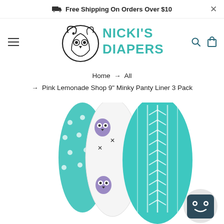Free Shipping On Orders Over $10
[Figure (logo): Nicki's Diapers logo with stylized owl and teal text]
Home → All → Pink Lemonade Shop 9" Minky Panty Liner 3 Pack
[Figure (photo): Pink Lemonade Shop 9-inch Minky Panty Liner 3 Pack product photo showing three cloth panty liners with teal arrow print, owl print, and teal polka dot patterns]